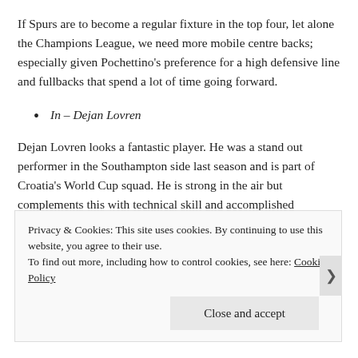If Spurs are to become a regular fixture in the top four, let alone the Champions League, we need more mobile centre backs; especially given Pochettino's preference for a high defensive line and fullbacks that spend a lot of time going forward.
In – Dejan Lovren
Dejan Lovren looks a fantastic player. He was a stand out performer in the Southampton side last season and is part of Croatia's World Cup squad. He is strong in the air but complements this with technical skill and accomplished
Privacy & Cookies: This site uses cookies. By continuing to use this website, you agree to their use.
To find out more, including how to control cookies, see here: Cookie Policy